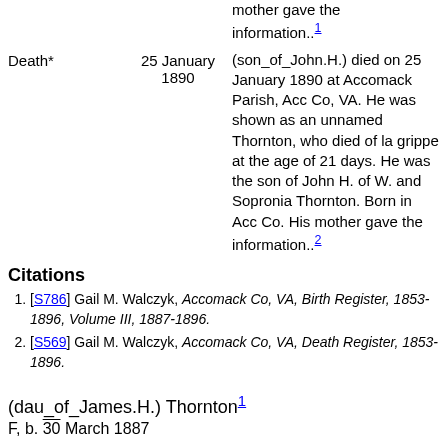mother gave the information..1
Death* 25 January 1890 (son_of_John.H.) died on 25 January 1890 at Accomack Parish, Acc Co, VA. He was shown as an unnamed Thornton, who died of la grippe at the age of 21 days. He was the son of John H. of W. and Sopronia Thornton. Born in Acc Co. His mother gave the information..2
Citations
[S786] Gail M. Walczyk, Accomack Co, VA, Birth Register, 1853-1896, Volume III, 1887-1896.
[S569] Gail M. Walczyk, Accomack Co, VA, Death Register, 1853-1896.
(dau_of_James.H.) Thornton1 F, b. 30 March 1887